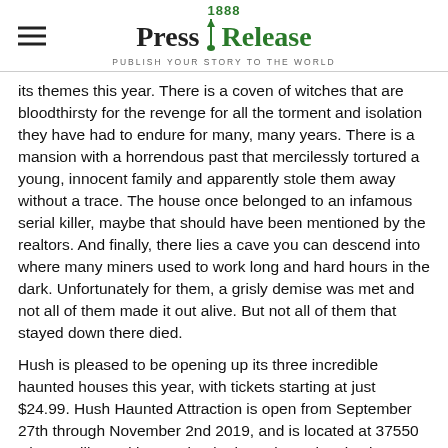1888 Press Release — PUBLISH YOUR STORY TO THE WORLD
its themes this year. There is a coven of witches that are bloodthirsty for the revenge for all the torment and isolation they have had to endure for many, many years. There is a mansion with a horrendous past that mercilessly tortured a young, innocent family and apparently stole them away without a trace. The house once belonged to an infamous serial killer, maybe that should have been mentioned by the realtors. And finally, there lies a cave you can descend into where many miners used to work long and hard hours in the dark. Unfortunately for them, a grisly demise was met and not all of them made it out alive. But not all of them that stayed down there died.
Hush is pleased to be opening up its three incredible haunted houses this year, with tickets starting at just $24.99. Hush Haunted Attraction is open from September 27th through November 2nd 2019, and is located at 37550 Cherry Hill Road in Westland. Three times the size it was last year, Hush will make all of Detroit scream with terror and excitement! Halloween is truly about celebrating fear and terror, so that we can look it in the eye and embrace it.